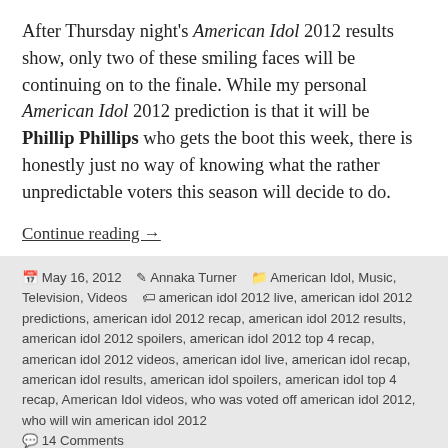After Thursday night's American Idol 2012 results show, only two of these smiling faces will be continuing on to the finale. While my personal American Idol 2012 prediction is that it will be Phillip Phillips who gets the boot this week, there is honestly just no way of knowing what the rather unpredictable voters this season will decide to do.
Continue reading →
May 16, 2012  Annaka Turner  American Idol, Music, Television, Videos  american idol 2012 live, american idol 2012 predictions, american idol 2012 recap, american idol 2012 results, american idol 2012 spoilers, american idol 2012 top 4 recap, american idol 2012 videos, american idol live, american idol recap, american idol results, american idol spoilers, american idol top 4 recap, American Idol videos, who was voted off american idol 2012, who will win american idol 2012  14 Comments